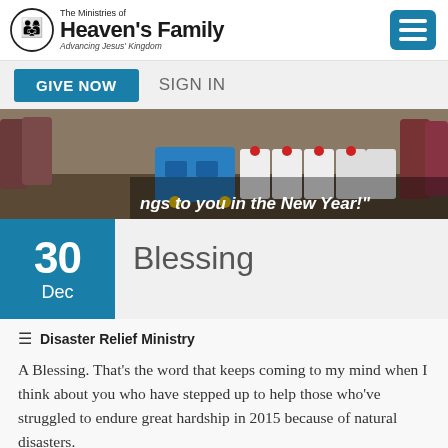The Ministries of Heaven's Family — Advancing Jesus' Kingdom
GIVE NOW   SIGN IN
[Figure (photo): Women standing near blue containers and white water jugs in muddy outdoor setting, with overlaid text '...ngs to you in the New Year!']
Blessing
Disaster Relief Ministry
A Blessing. That's the word that keeps coming to my mind when I think about you who have stepped up to help those who've struggled to endure great hardship in 2015 because of natural disasters.